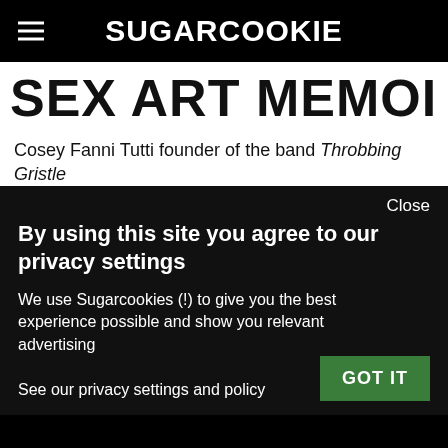SUGARCOOKIE
SEX ART MEMOIRS
Cosey Fanni Tutti founder of the band Throbbing Gristle has revealed the stories behind one of the most
Close
By using this site you agree to our privacy settings
We use Sugarcookies (!) to give you the best experience possible and show you relevant advertising
See our privacy settings and policy
GOT IT